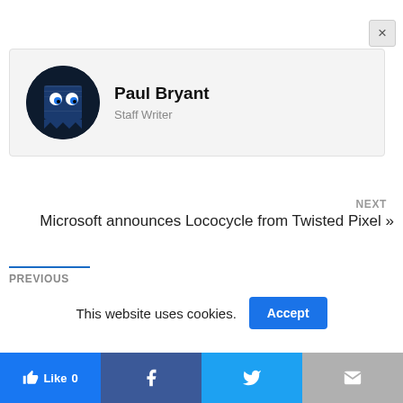[Figure (other): Close button (X) in top right corner]
[Figure (other): Author card with Pac-Man ghost avatar, name Paul Bryant, role Staff Writer]
NEXT
Microsoft announces Lococycle from Twisted Pixel »
PREVIOUS
This website uses cookies.
[Figure (other): Cookie Accept button (blue)]
[Figure (other): Social bar with Like 0, Facebook, Twitter, and Mail buttons]